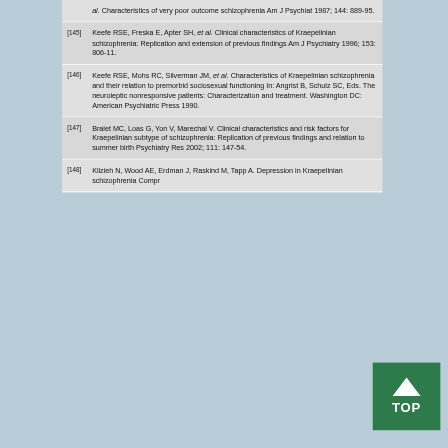[144] ...al. Characteristics of very poor outcome schizophrenia Am J Psychiat 1987; 144: 889-95.
[145] Keefe RSE, Freska E, Apter SH, et al. Clinical characteristics of Kraepelinian schizophrenia: Replication and extension of previous findings Am J Psychiatry 1996; 153: 806-11.
[146] Keefe RSE, Mohs RC, Silverman JM, et al. Characteristics of Kraepelinian schizophrenia and their relation to premorbid sociosexual functioning In: Angrist B, Schulz SC, Eds. The neuroleptic nonresponsive patients: Characterization and treatment. Washington DC: American Psychiatric Press 1990.
[147] Bralet MC, Loas G, Yon V, Marechal V. Clinical characteristics and risk factors for Kraepelinian subtype of schizophrenia: Replication of previous findings and relation to summer birth Psychiatry Res 2002; 111: 147-54.
[148] Kilzieh N, Wood AE, Erdman J, Raskind M, Tapp A. Depression in Kraepelinian schizophrenia Compr